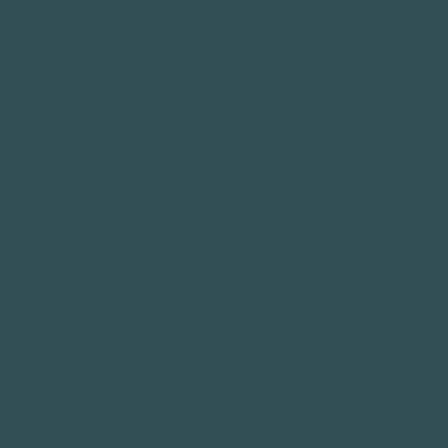[Figure (other): Solid dark teal/slate background page with subtle texture variations. The page is entirely filled with a deep teal-green color approximately #2d4f55, with very faint ghost-like lighter shapes barely visible suggesting a heavily faded or washed out document or image underneath.]